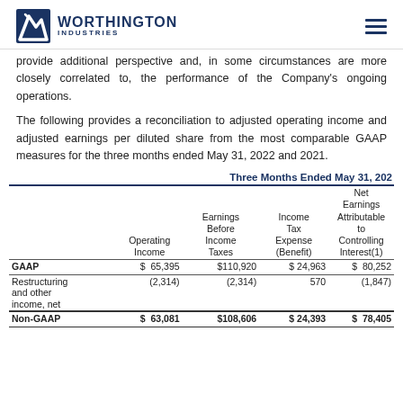WORTHINGTON INDUSTRIES
provide additional perspective and, in some circumstances are more closely correlated to, the performance of the Company's ongoing operations.
The following provides a reconciliation to adjusted operating income and adjusted earnings per diluted share from the most comparable GAAP measures for the three months ended May 31, 2022 and 2021.
|  | Operating Income | Earnings Before Income Taxes | Income Tax Expense (Benefit) | Net Earnings Attributable to Controlling Interest(1) |
| --- | --- | --- | --- | --- |
| GAAP | $ 65,395 | $110,920 | $ 24,963 | $ 80,252 |
| Restructuring and other income, net | (2,314) | (2,314) | 570 | (1,847) |
| Non-GAAP | $ 63,081 | $108,606 | $ 24,393 | $ 78,405 |